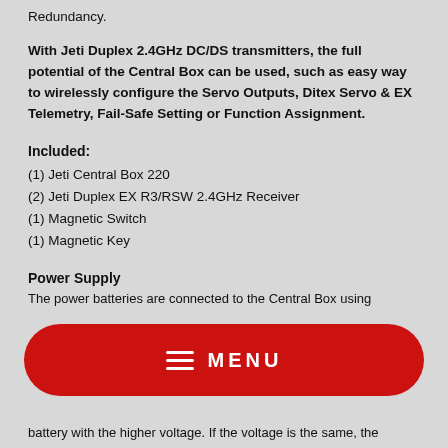Redundancy.
With Jeti Duplex 2.4GHz DC/DS transmitters, the full potential of the Central Box can be used, such as easy way to wirelessly configure the Servo Outputs, Ditex Servo & EX Telemetry, Fail-Safe Setting or Function Assignment.
Included:
(1)  Jeti Central Box 220
(2)  Jeti Duplex EX R3/RSW 2.4GHz Receiver
(1)  Magnetic Switch
(1)  Magnetic Key
Power Supply
The power batteries are connected to the Central Box using
[Figure (other): Red rounded rectangle MENU button overlay with hamburger icon and MENU text]
battery with the higher voltage. If the voltage is the same, the